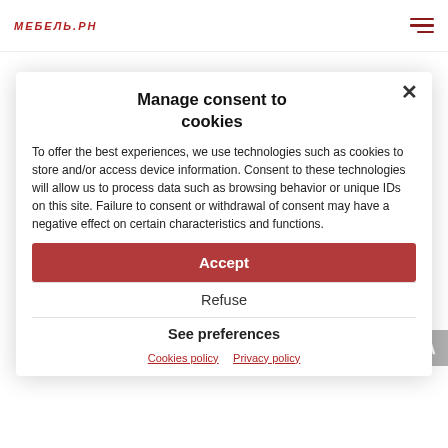МЕБЕЛЬ.РН (logo) | hamburger menu icon
Automatically collected data
We do not collect any data automatically on our site.
Non automatic data collection
We collect the following data when you perform certain functions on our site:
Manage consent to cookies
To offer the best experiences, we use technologies such as cookies to store and/or access device information. Consent to these technologies will allow us to process data such as browsing behavior or unique IDs on this site. Failure to consent or withdrawal of consent may have a negative effect on certain characteristics and functions.
Accept
First and last name
Email
Phone number
Refuse
See preferences
These data are collected using the following methods:
Cookies policy   Privacy policy